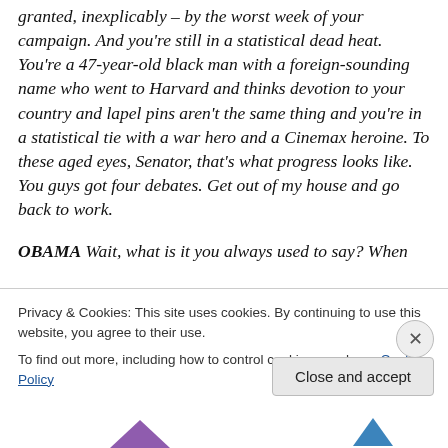granted, inexplicably – by the worst week of your campaign. And you're still in a statistical dead heat. You're a 47-year-old black man with a foreign-sounding name who went to Harvard and thinks devotion to your country and lapel pins aren't the same thing and you're in a statistical tie with a war hero and a Cinemax heroine. To these aged eyes, Senator, that's what progress looks like. You guys got four debates. Get out of my house and go back to work.
OBAMA Wait, what is it you always used to say? When you hit a bump on the show and your people were down...
Privacy & Cookies: This site uses cookies. By continuing to use this website, you agree to their use. To find out more, including how to control cookies, see here: Cookie Policy